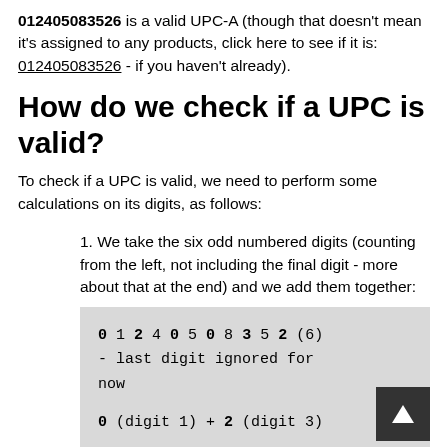012405083526 is a valid UPC-A (though that doesn't mean it's assigned to any products, click here to see if it is: 012405083526 - if you haven't already).
How do we check if a UPC is valid?
To check if a UPC is valid, we need to perform some calculations on its digits, as follows:
1. We take the six odd numbered digits (counting from the left, not including the final digit - more about that at the end) and we add them together:
[Figure (other): Code box showing: 0 1 2 4 0 5 0 8 3 5 2 (6) - last digit ignored for now
0 (digit 1) + 2 (digit 3)]
0 (digit 1) + 2 (digit 3)